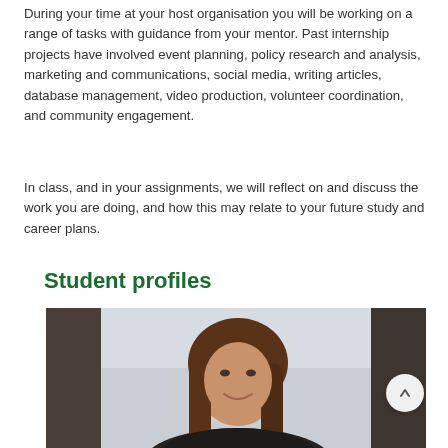During your time at your host organisation you will be working on a range of tasks with guidance from your mentor. Past internship projects have involved event planning, policy research and analysis, marketing and communications, social media, writing articles, database management, video production, volunteer coordination, and community engagement.
In class, and in your assignments, we will reflect on and discuss the work you are doing, and how this may relate to your future study and career plans.
Student profiles
[Figure (photo): Photo of a young woman with long brown hair, smiling, in a professional indoor setting with blurred window background]